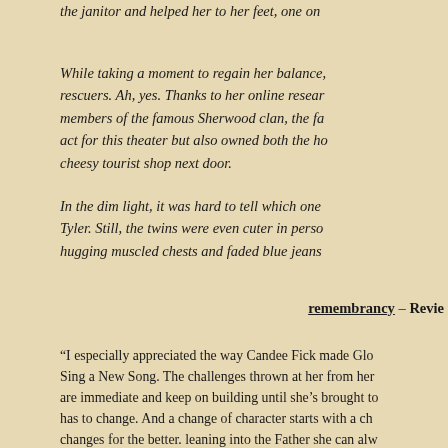the janitor and helped her to her feet, one on
While taking a moment to regain her balance, rescuers. Ah, yes. Thanks to her online resear members of the famous Sherwood clan, the fa act for this theater but also owned both the ho cheesy tourist shop next door.
In the dim light, it was hard to tell which one Tyler. Still, the twins were even cuter in perso hugging muscled chests and faded blue jeans
remembrancy – Revie
“I especially appreciated the way Candee Fick made Glo Sing a New Song. The challenges thrown at her from her are immediate and keep on building until she’s brought to has to change. And a change of character starts with a ch changes for the better. leaning into the Father she can alw excellent addition to the series that shows that change ano you sometimes doubt the most.”